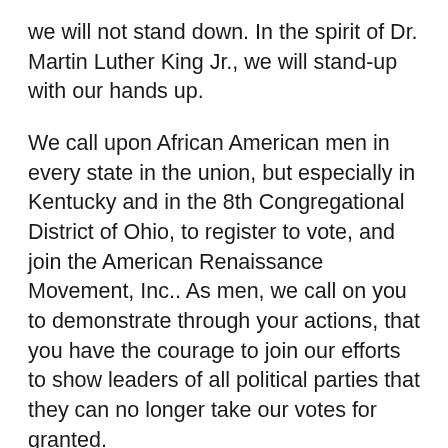we will not stand down. In the spirit of Dr. Martin Luther King Jr., we will stand-up with our hands up.
We call upon African American men in every state in the union, but especially in Kentucky and in the 8th Congregational District of Ohio, to register to vote, and join the American Renaissance Movement, Inc.. As men, we call on you to demonstrate through your actions, that you have the courage to join our efforts to show leaders of all political parties that they can no longer take our votes for granted.
If we, the ARMI, are not satisfied with actions taken by party leaders, know that our boots will hit the ground in every congressional district, and in every state, to increase voter turnout and protect the rights of voters who desire to exercise their constitutional rights. Our aim is to elect leaders who share our core values, and